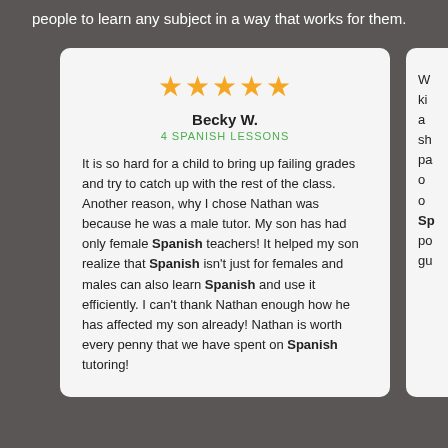people to learn any subject in a way that works for them.
[Figure (other): Five gold star rating icons]
Becky W.
4 SPANISH LESSONS
It is so hard for a child to bring up failing grades and try to catch up with the rest of the class. Another reason, why I chose Nathan was because he was a male tutor. My son has had only female Spanish teachers! It helped my son realize that Spanish isn't just for females and males can also learn Spanish and use it efficiently. I can't thank Nathan enough how he has affected my son already! Nathan is worth every penny that we have spent on Spanish tutoring!